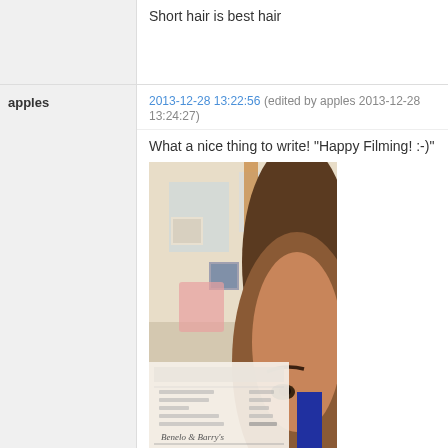Short hair is best hair
apples
2013-12-28 13:22:56 (edited by apples 2013-12-28 13:24:27)
What a nice thing to write! "Happy Filming! :-)"
[Figure (photo): A close-up selfie photo of a person with short dark hair, alongside a blurry background showing a cafe or restaurant interior. In the foreground is a receipt/bill with handwritten text 'Happy Filming' and what appears to be a signature, along with itemized charges.]